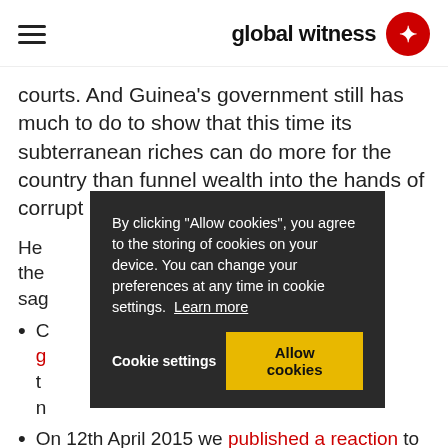global witness
courts. And Guinea's government still has much to do to show that this time its subterranean riches can do more for the country than funnel wealth into the hands of corrupt elites.
He [partially obscured by overlay] the [partially obscured] sag [partially obscured]
C [partially obscured by overlay] g [red link, partially obscured] t [partially obscured] n [partially obscured]
On 12th April 2015 we published a reaction to
By clicking "Allow cookies", you agree to the storing of cookies on your device. You can change your preferences at any time in cookie settings. Learn more
Cookie settings   Allow cookies